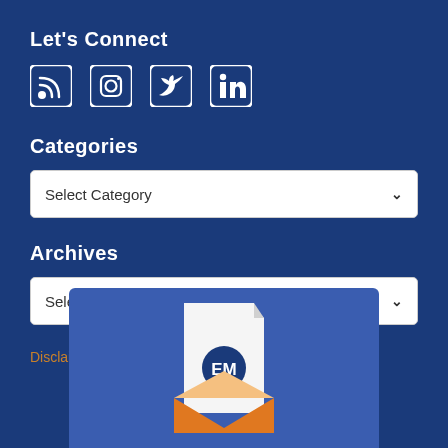Let's Connect
[Figure (illustration): Social media icons: RSS feed, Instagram, Twitter, LinkedIn]
Categories
[Figure (screenshot): Dropdown selector showing 'Select Category' with a down arrow]
Archives
[Figure (screenshot): Dropdown selector showing 'Select Month' with a down arrow]
Disclaimer  |  Privacy Policy
[Figure (illustration): Newsletter signup illustration: a blue card with an envelope containing a document with 'EM' logo badge]